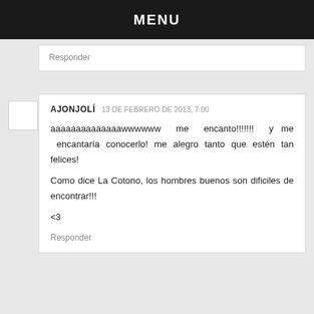MENU
Responder
AJONJOLÍ 13 DE FEBRERO DE 2013, 7:00

aaaaaaaaaaaaaawwwwww me encanto!!!!!!! y me encantaría conocerlo! me alegro tanto que estén tan felices!

Como dice La Cotono, los hombres buenos son dificiles de encontrar!!!

<3
Responder